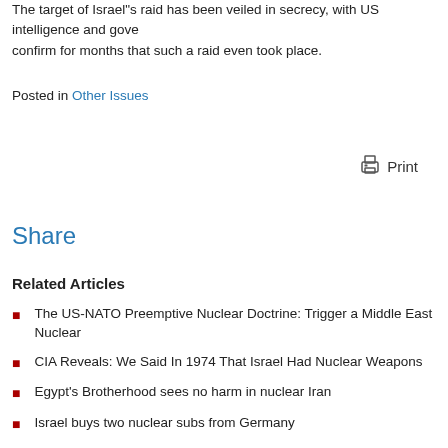The target of Israel"s raid has been veiled in secrecy, with US intelligence and gove confirm for months that such a raid even took place.
Posted in Other Issues
Print
Share
Related Articles
The US-NATO Preemptive Nuclear Doctrine: Trigger a Middle East Nuclear
CIA Reveals: We Said In 1974 That Israel Had Nuclear Weapons
Egypt's Brotherhood sees no harm in nuclear Iran
Israel buys two nuclear subs from Germany